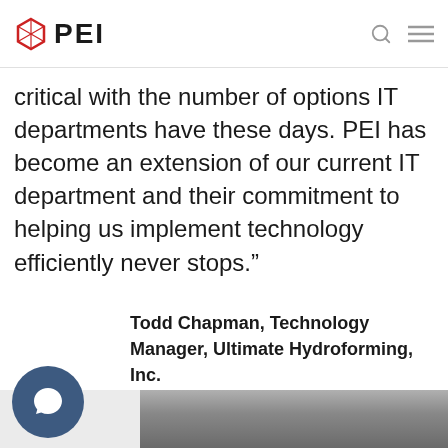PEI
critical with the number of options IT departments have these days. PEI has become an extension of our current IT department and their commitment to helping us implement technology efficiently never stops.”
Todd Chapman, Technology Manager, Ultimate Hydroforming, Inc.
[Figure (photo): Black and white headshot photo of a person, partially visible at the bottom of the page]